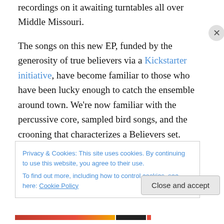recordings on it awaiting turntables all over Middle Missouri.
The songs on this new EP, funded by the generosity of true believers via a Kickstarter initiative, have become familiar to those who have been lucky enough to catch the ensemble around town. We're now familiar with the percussive core, sampled bird songs, and the crooning that characterizes a Believers set. Additionally, those who have seen them in-person know of the energy they bring as normally-reserved CoMo crowds find the dancer within
Privacy & Cookies: This site uses cookies. By continuing to use this website, you agree to their use.
To find out more, including how to control cookies, see here: Cookie Policy